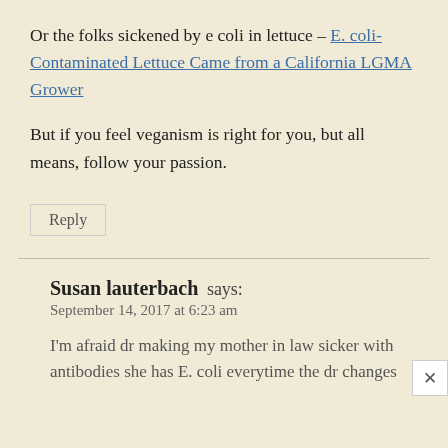Or the folks sickened by e coli in lettuce – E. coli-Contaminated Lettuce Came from a California LGMA Grower
But if you feel veganism is right for you, but all means, follow your passion.
Reply
Susan lauterbach says:
September 14, 2017 at 6:23 am
I'm afraid dr making my mother in law sicker with antibodies she has E. coli everytime the dr changes